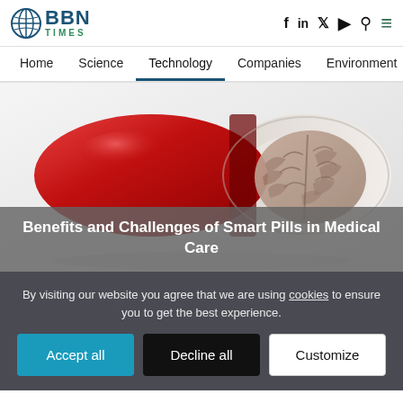BBN TIMES — Home | Science | Technology | Companies | Environment
[Figure (illustration): A red and transparent capsule pill opened to reveal a human brain inside, on a white background. Represents smart pill / brain-enhancing drug concept.]
Benefits and Challenges of Smart Pills in Medical Care
By visiting our website you agree that we are using cookies to ensure you to get the best experience.